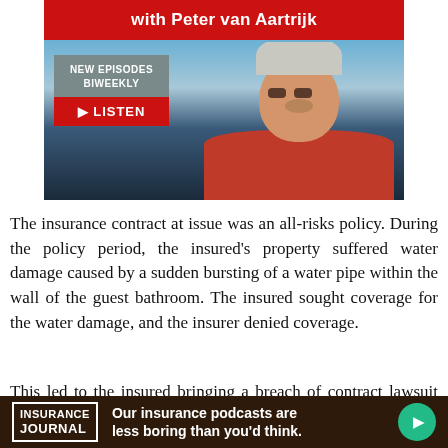[Figure (photo): Podcast promotional banner with red header reading 'with Peter van Aartrijk', badge showing 'NEW EPISODES BIWEEKLY' with red LISTEN button, and photo of a smiling man with gray hair and beard wearing a red shirt against a mountain/sky background]
The insurance contract at issue was an all-risks policy. During the policy period, the insured's property suffered water damage caused by a sudden bursting of a water pipe within the wall of the guest bathroom. The insured sought coverage for the water damage, and the insurer denied coverage.
This led to the insured bringing a breach of contract lawsuit against the insurer. During the litigation, both
INSURANCE JOURNAL — Our insurance podcasts are less boring than you'd think.